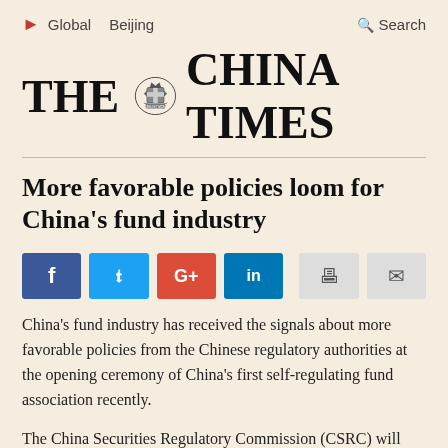▶  Global   Beijing   🔍 Search
THE [emblem] CHINA TIMES
More favorable policies loom for China's fund industry
[Figure (other): Social share buttons: Facebook (blue), Twitter (light blue), Google+ (red), LinkedIn (blue), Print (grey), Email (grey)]
China's fund industry has received the signals about more favorable policies from the Chinese regulatory authorities at the opening ceremony of China's first self-regulating fund association recently.
The China Securities Regulatory Commission (CSRC) will